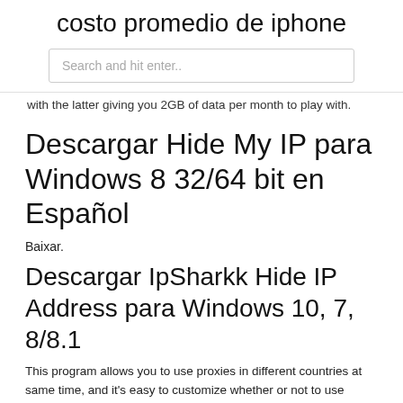costo promedio de iphone
Search and hit enter..
with the latter giving you 2GB of data per month to play with.
Descargar Hide My IP para Windows 8 32/64 bit en Español
Baixar.
Descargar IpSharkk Hide IP Address para Windows 10, 7, 8/8.1
This program allows you to use proxies in different countries at same time, and it's easy to customize whether or not to use saludos ,instale recientemente el programa Hide ALL IP 2015.12.08.151208 en mi pc pero tuve que desintalarlo porque era una version trial a pesar del crack que traia el mismo no ffuncionaba, pero a pesar de haber desintalado el